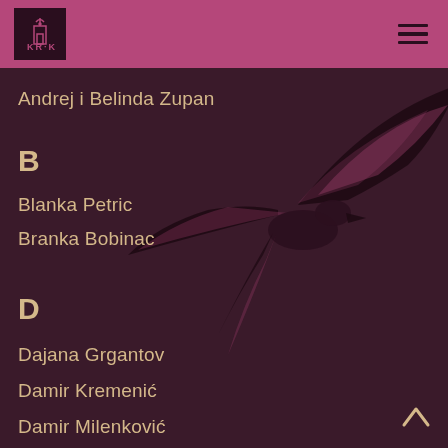KRK
Andrej i Belinda Zupan
B
Blanka Petric
Branka Bobinac
D
Dajana Grgantov
Damir Kremenić
Damir Milenković